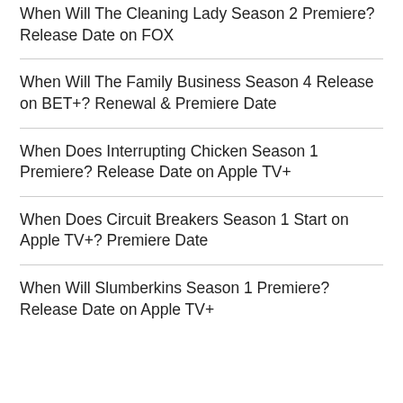When Will The Cleaning Lady Season 2 Premiere? Release Date on FOX
When Will The Family Business Season 4 Release on BET+? Renewal & Premiere Date
When Does Interrupting Chicken Season 1 Premiere? Release Date on Apple TV+
When Does Circuit Breakers Season 1 Start on Apple TV+? Premiere Date
When Will Slumberkins Season 1 Premiere? Release Date on Apple TV+